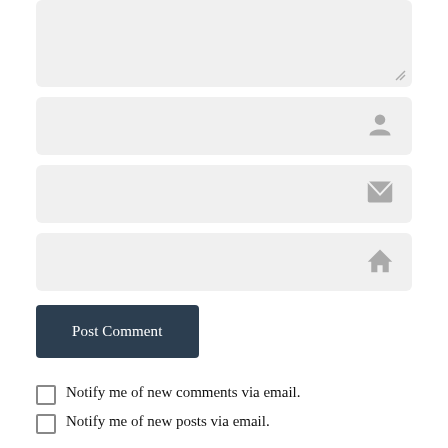[Figure (screenshot): Textarea input field (comment box) with light gray background and resize handle at bottom-right corner]
[Figure (screenshot): Name text input field with gray background and person/user icon on the right]
[Figure (screenshot): Email text input field with gray background and envelope icon on the right]
[Figure (screenshot): URL/website text input field with gray background and house/home icon on the right]
Post Comment
Notify me of new comments via email.
Notify me of new posts via email.